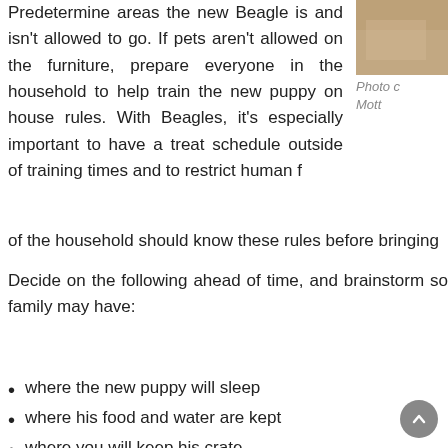[Figure (photo): Partial photo of a beagle dog, tan/brown fur visible in top right corner]
Photo c Mott
Predetermine areas the new Beagle is and isn't allowed to go. If pets aren't allowed on the furniture, prepare everyone in the household to help train the new puppy on house rules. With Beagles, it's especially important to have a treat schedule outside of training times and to restrict human food. Everyone of the household should know these rules before bringing
Decide on the following ahead of time, and brainstorm solutions to problems your family may have:
where the new puppy will sleep
where his food and water are kept
where you will keep his crate
where he will go potty
who will do which pet chores
who is primarily in charge of training